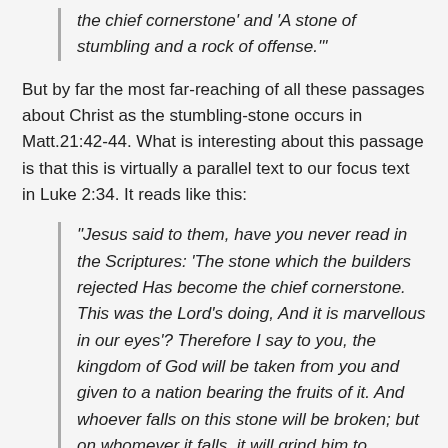the chief cornerstone' and 'A stone of stumbling and a rock of offense.'
But by far the most far-reaching of all these passages about Christ as the stumbling-stone occurs in Matt.21:42-44. What is interesting about this passage is that this is virtually a parallel text to our focus text in Luke 2:34. It reads like this:
“Jesus said to them, have you never read in the Scriptures: ‘The stone which the builders rejected Has become the chief cornerstone. This was the Lord’s doing, And it is marvellous in our eyes’? Therefore I say to you, the kingdom of God will be taken from you and given to a nation bearing the fruits of it. And whoever falls on this stone will be broken; but on whomever it falls, it will grind him to powder” (Matt.21:42-